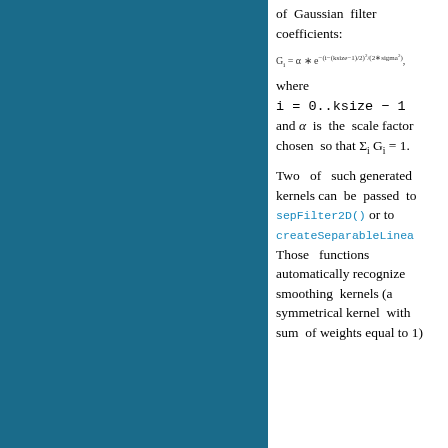of Gaussian filter coefficients:
where i = 0..ksize − 1 and α is the scale factor chosen so that ∑_i G_i = 1.
Two of such generated kernels can be passed to sepFilter2D() or to createSeparableLinearFilter(). Those functions automatically recognize smoothing kernels (a symmetrical kernel with sum of weights equal to 1)